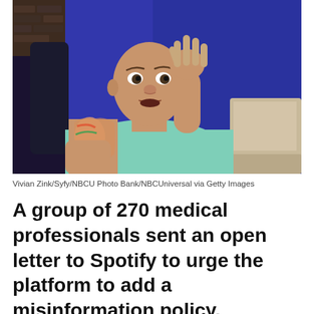[Figure (photo): A bald man with tattoos on his arm wearing a light teal/mint t-shirt, raising one hand, appearing to speak. He is seated in front of a laptop and a blue background. This is Joe Rogan photographed for a TV show.]
Vivian Zink/Syfy/NBCU Photo Bank/NBCUniversal via Getty Images
A group of 270 medical professionals sent an open letter to Spotify to urge the platform to add a misinformation policy, especially regarding COVID-19, over the success of Joe Rogan’s popular podcast.